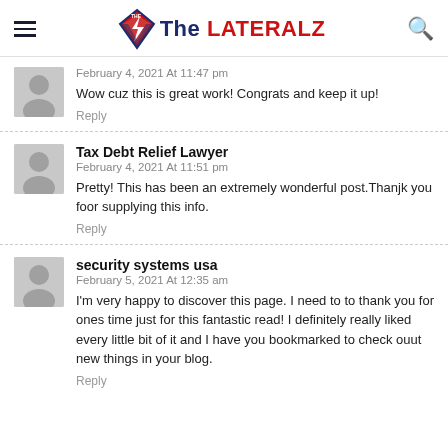The LATERALZ
February 4, 2021 At 11:47 pm
Wow cuz this is great work! Congrats and keep it up!
Reply
Tax Debt Relief Lawyer
February 4, 2021 At 11:51 pm
Pretty! This has been an extremely wonderful post.Thanjk you foor supplying this info.
Reply
security systems usa
February 5, 2021 At 12:35 am
I'm very happy to discover this page. I need to to thank you for ones time just for this fantastic read! I definitely really liked every little bit of it and I have you bookmarked to check ouut new things in your blog.
Reply